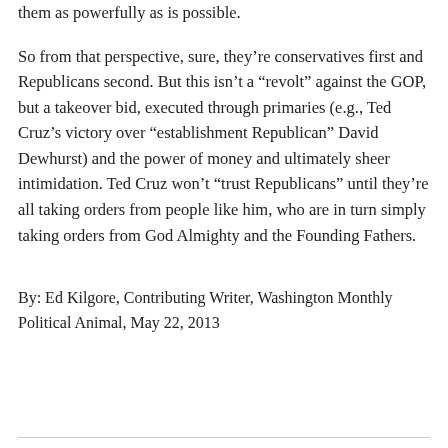them as powerfully as is possible.
So from that perspective, sure, they’re conservatives first and Republicans second. But this isn’t a “revolt” against the GOP, but a takeover bid, executed through primaries (e.g., Ted Cruz’s victory over “establishment Republican” David Dewhurst) and the power of money and ultimately sheer intimidation. Ted Cruz won’t “trust Republicans” until they’re all taking orders from people like him, who are in turn simply taking orders from God Almighty and the Founding Fathers.
By: Ed Kilgore, Contributing Writer, Washington Monthly Political Animal, May 22, 2013